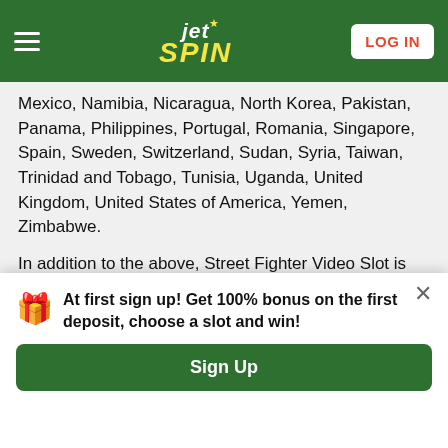JetSpin - LOG IN
Mexico, Namibia, Nicaragua, North Korea, Pakistan, Panama, Philippines, Portugal, Romania, Singapore, Spain, Sweden, Switzerland, Sudan, Syria, Taiwan, Trinidad and Tobago, Tunisia, Uganda, United Kingdom, United States of America, Yemen, Zimbabwe.
In addition to the above, Street Fighter Video Slot is not available for the following countries:
Anguilla, Antigua & Barbuda, Argentina, Aruba, Barbados, Bahamas, Belize, Bermuda, Bolivia, Bonaire, Brazil, British Virgin Islands, Canada, Cayman Islands, China, Chile, Clipperton Island, Columbia, Costa Rica, Cuba, Curacao, Dominica, Dominican Republic, El Salvador, Greenland, Grenada, Guadeloupe, Guatemala, Guyana, Haiti, Honduras, Jamaica, Martinique, Mexico, Montserrat, Navassa Island, Paraguay, Peru, Puerto Rico, Saba, Saint Barthelemy, Saint Eustatius, Saint Kitts and Nevis, Saint Lucia, Saint Maarten, Sint Eustatio, Saint Pierre and Miquelon, Saint Vincent and the Grenadines, South Korea, Suriname, Turks and Caicos Islands, United States...
At first sign up! Get 100% bonus on the first deposit, choose a slot and win!
Sign Up